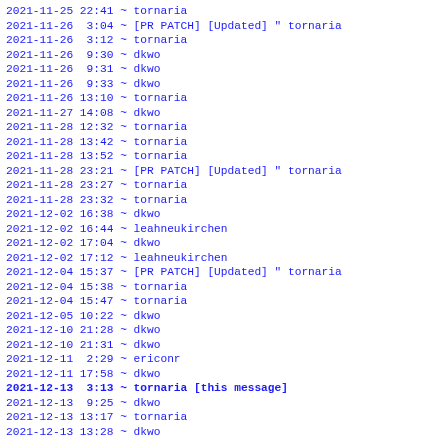2021-11-25 22:41 ~ tornaria
2021-11-26  3:04 ~ [PR PATCH] [Updated] " tornaria
2021-11-26  3:12 ~ tornaria
2021-11-26  9:30 ~ dkwo
2021-11-26  9:31 ~ dkwo
2021-11-26  9:33 ~ dkwo
2021-11-26 13:10 ~ tornaria
2021-11-27 14:08 ~ dkwo
2021-11-28 12:32 ~ tornaria
2021-11-28 13:42 ~ tornaria
2021-11-28 13:52 ~ tornaria
2021-11-28 23:21 ~ [PR PATCH] [Updated] " tornaria
2021-11-28 23:27 ~ tornaria
2021-11-28 23:32 ~ tornaria
2021-12-02 16:38 ~ dkwo
2021-12-02 16:44 ~ leahneukirchen
2021-12-02 17:04 ~ dkwo
2021-12-02 17:12 ~ leahneukirchen
2021-12-04 15:37 ~ [PR PATCH] [Updated] " tornaria
2021-12-04 15:38 ~ tornaria
2021-12-04 15:47 ~ tornaria
2021-12-05 10:22 ~ dkwo
2021-12-10 21:28 ~ dkwo
2021-12-10 21:31 ~ dkwo
2021-12-11  2:29 ~ ericonr
2021-12-11 17:58 ~ dkwo
2021-12-13  3:13 ~ tornaria [this message]
2021-12-13  9:25 ~ dkwo
2021-12-13 13:17 ~ tornaria
2021-12-13 13:28 ~ dkwo